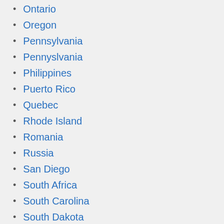Ontario
Oregon
Pennsylvania
Pennyslvania
Philippines
Puerto Rico
Quebec
Rhode Island
Romania
Russia
San Diego
South Africa
South Carolina
South Dakota
Taiwan
Tennessee
Texas
United Kingdom
United Kingdom - UK